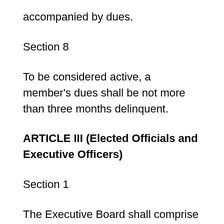accompanied by dues.
Section 8
To be considered active, a member's dues shall be not more than three months delinquent.
ARTICLE III (Elected Officials and Executive Officers)
Section 1
The Executive Board shall comprise the elected officers: President, Vice-President, Secretary, Treasurer and Member-at-Large.